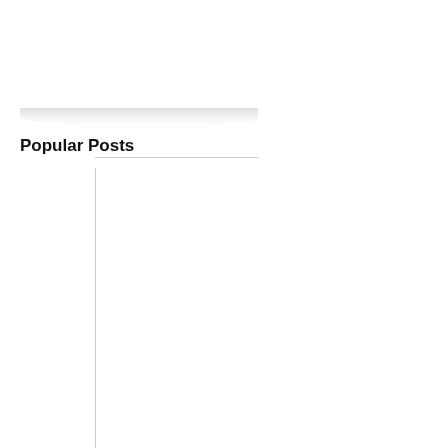RELATED POSTS:
[Figure (photo): Food photo of Broccoli and Chicken Casserole - creamy dish with broccoli on a white plate]
Broccoli and Chicken Casserole
Popular Posts
Chicken Marmalade Recipe
[Figure (photo): Food photo of chicken pieces in red tomato sauce with green beans]